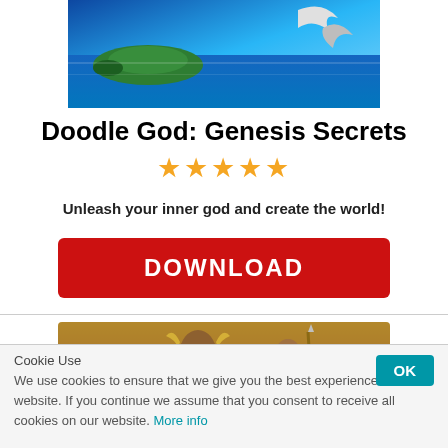[Figure (illustration): Top portion of a game screenshot showing a colorful fantasy world with ocean water, an island, and a whale or large sea creature in the upper right]
Doodle God: Genesis Secrets
★★★★★
Unleash your inner god and create the world!
DOWNLOAD
[Figure (illustration): Bottom game screenshot showing armored fantasy warriors, including a figure in golden winged helmet, in an epic battle scene]
Cookie Use
We use cookies to ensure that we give you the best experience on our website. If you continue we assume that you consent to receive all cookies on our website. More info